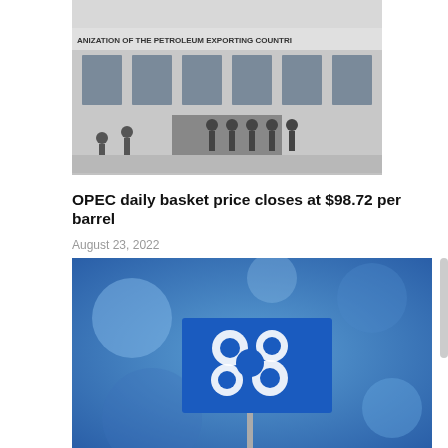[Figure (photo): People standing outside the Organization of the Petroleum Exporting Countries (OPEC) building. Text visible on building facade: 'ORGANIZATION OF THE PETROLEUM EXPORTING COUNTRI']
OPEC daily basket price closes at $98.72 per barrel
August 23, 2022
[Figure (photo): Close-up of an OPEC flag (blue flag with white OPEC logo consisting of circular shapes) on a pole, with a blurred blue background]